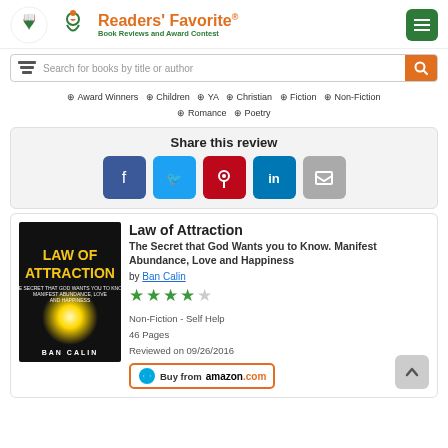[Figure (logo): Readers' Favorite logo with book icon and text 'Book Reviews and Award Contest']
[Figure (screenshot): Search bar with placeholder 'Search for books by title or author' and orange search button]
⊕ Award Winners  ⊕ Children  ⊕ YA  ⊕ Christian  ⊕ Fiction  ⊕ Non-Fiction  ⊕ Romance  ⊕ Poetry
Share this review
[Figure (infographic): Social share buttons: Facebook, Twitter, Pinterest, LinkedIn, Print]
Law of Attraction
The Secret that God Wants you to Know. Manifest Abundance, Love and Happiness
by Ban Calin
[Figure (other): 4 out of 5 stars rating]
Non-Fiction - Self Help
46 Pages
Reviewed on 09/26/2016
[Figure (other): Buy from amazon.com button]